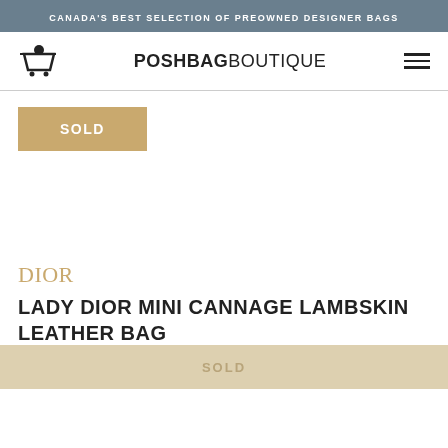CANADA'S BEST SELECTION OF PREOWNED DESIGNER BAGS
POSHBAGBOUTIQUE
[Figure (other): SOLD badge overlay on product image area]
DIOR
LADY DIOR MINI CANNAGE LAMBSKIN LEATHER BAG
SOLD